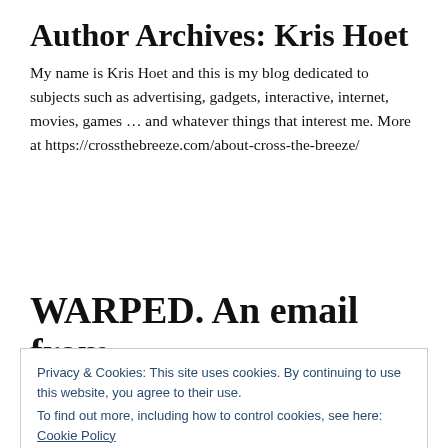Author Archives: Kris Hoet
My name is Kris Hoet and this is my blog dedicated to subjects such as advertising, gadgets, interactive, internet, movies, games ... and whatever things that interest me. More at https://crossthebreeze.com/about-cross-the-breeze/
WARPED. An email from
Privacy & Cookies: This site uses cookies. By continuing to use this website, you agree to their use.
To find out more, including how to control cookies, see here: Cookie Policy
Close and accept